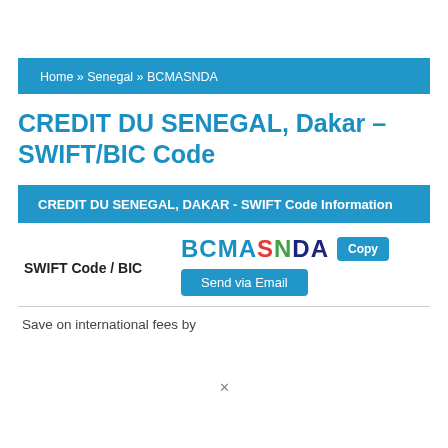Home » Senegal » BCMASNDA
CREDIT DU SENEGAL, Dakar – SWIFT/BIC Code
CREDIT DU SENEGAL, DAKAR - SWIFT Code Information
|  |  |
| --- | --- |
| SWIFT Code / BIC | BCMASNDA  Copy  Send via Email |
Save on international fees by